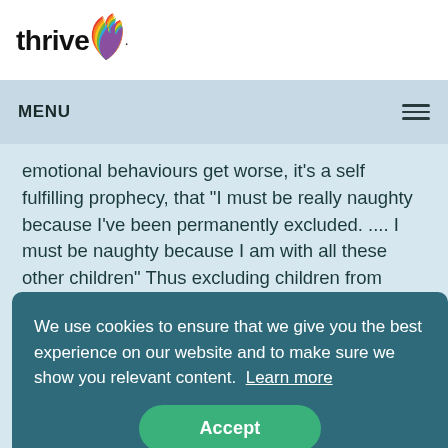[Figure (logo): Thrive logo with rainbow flame icon and bold 'thrive' text]
MENU
emotional behaviours get worse, it's a self fulfilling prophecy, that "I must be really naughty because I've been permanently excluded. .... I must be naughty because I am with all these other children" Thus excluding children from school and grouping
We use cookies to ensure that we give you the best experience on our website and to make sure we show you relevant content. Learn more
Accept
beyond what [behaviour] would normally be